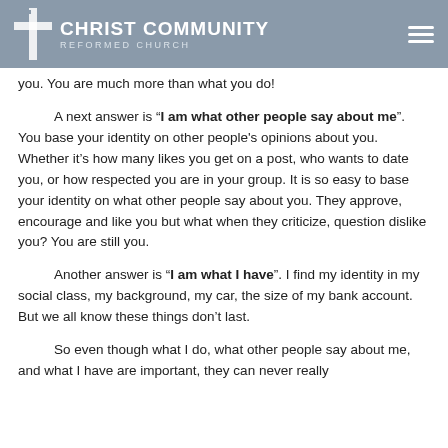Christ Community Reformed Church
you. You are much more than what you do!
A next answer is “I am what other people say about me”. You base your identity on other people's opinions about you. Whether it’s how many likes you get on a post, who wants to date you, or how respected you are in your group. It is so easy to base your identity on what other people say about you. They approve, encourage and like you but what when they criticize, question dislike you? You are still you.
Another answer is “I am what I have”. I find my identity in my social class, my background, my car, the size of my bank account. But we all know these things don’t last.
So even though what I do, what other people say about me, and what I have are important, they can never really